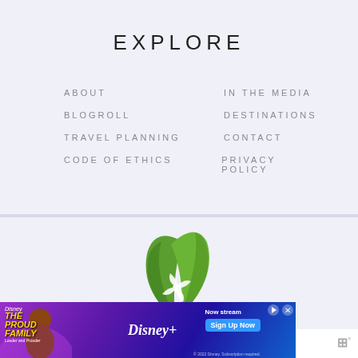EXPLORE
ABOUT
IN THE MEDIA
BLOGROLL
DESTINATIONS
TRAVEL PLANNING
CONTACT
CODE OF ETHICS
PRIVACY POLICY
[Figure (logo): Green leaf logo with white windmill/pinwheel design]
[Figure (screenshot): Disney+ advertisement banner for The Proud Family streaming show with Sign Up Now button]